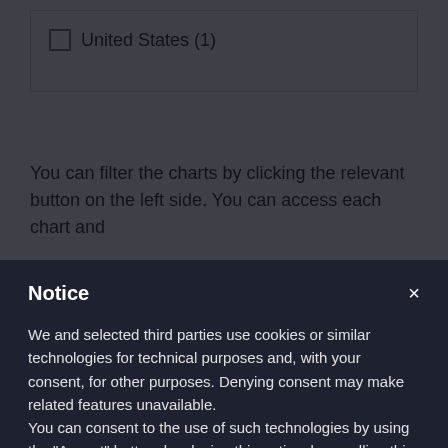☐ United States (1)
You can filter the charts by clicking the relevant button on the left side. You can access each chart and
Notice
We and selected third parties use cookies or similar technologies for technical purposes and, with your consent, for other purposes. Denying consent may make related features unavailable.
You can consent to the use of such technologies by using the "Accept" button, by closing this notice, by scrolling this page, by interacting with any link or button outside of this notice or by continuing to browse otherwise.
Accept
Learn more and customize